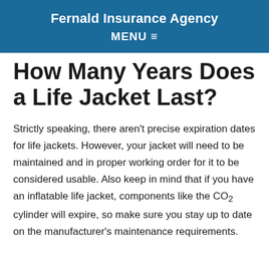Fernald Insurance Agency
MENU ≡
How Many Years Does a Life Jacket Last?
Strictly speaking, there aren't precise expiration dates for life jackets. However, your jacket will need to be maintained and in proper working order for it to be considered usable. Also keep in mind that if you have an inflatable life jacket, components like the CO₂ cylinder will expire, so make sure you stay up to date on the manufacturer's maintenance requirements.